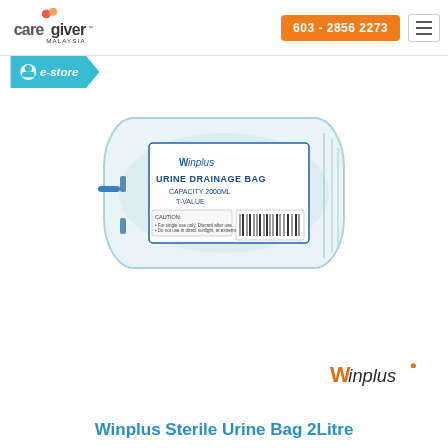Caregiver Malaysia | 603 - 2856 2273
[Figure (logo): e-store banner/badge in teal/blue with white circle icon]
[Figure (photo): Winplus Urine Drainage Bag 2000mL product photo - clear plastic bag with blue label text reading URINE DRAINAGE BAG CAPACITY 2000ML T-VALUE with caution instructions and barcode]
[Figure (logo): Winplus brand logo in orange and dark text]
Winplus Sterile Urine Bag 2Litre